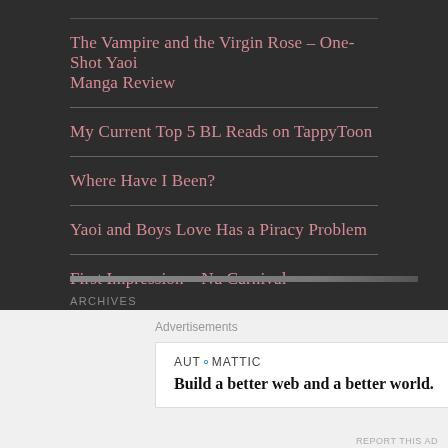The Vampire and the Virgin Rose – One-Shot Yaoi Manga Review
My Current Top 5 BL Reads on TappyToon
Where Have I Been?
Yaoi and Boys Love Has a Piracy Problem
First Impression – Nu Carnival
ARCHIVES
Advertisements
AUTOMATTIC
Build a better web and a better world.